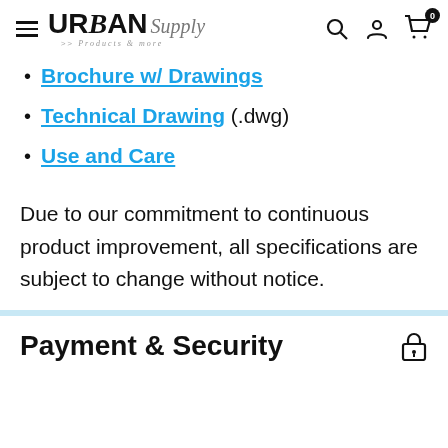URBAN Supply
Brochure w/ Drawings
Technical Drawing (.dwg)
Use and Care
Due to our commitment to continuous product improvement, all specifications are subject to change without notice.
Payment & Security